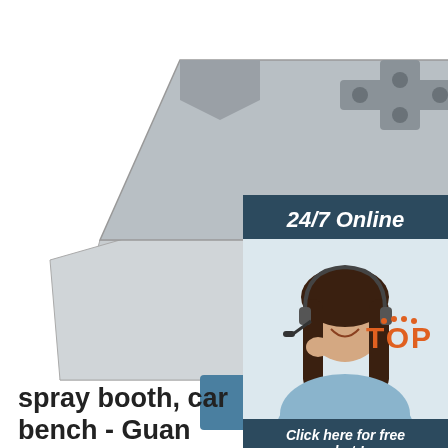[Figure (photo): Product photo of a metal spray booth / car bench device, silver metallic color, top-down view showing mechanical components, on a white background with a blue base visible at bottom.]
[Figure (photo): Online customer service chat widget. Dark blue/navy background with '24/7 Online' header, photo of smiling woman with headset, text 'Click here for free chat!' and an orange 'QUOTATION' button.]
spray booth, car bench - Guan... Hechuang Coating ...
Hot Selling Auto Car Painting Cabin Spray Booth Price. $4,000.00 - $10,000.00/Set. 1 Set(Min. Order) small spray paint booth/furniture Spray paint cabinet/portable spray booth. $3,000.00 - $8,000.00/Set. 1 Set(Min. Order) Car painting oven spraying booth/car painting room price.